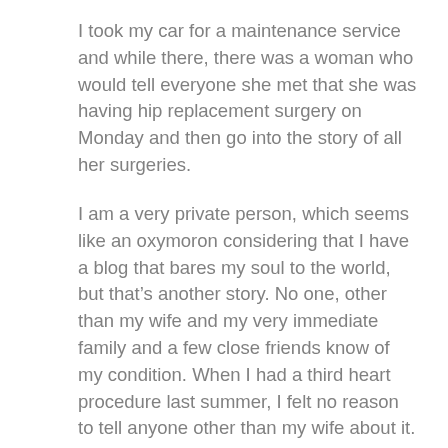I took my car for a maintenance service and while there, there was a woman who would tell everyone she met that she was having hip replacement surgery on Monday and then go into the story of all her surgeries.
I am a very private person, which seems like an oxymoron considering that I have a blog that bares my soul to the world, but that’s another story. No one, other than my wife and my very immediate family and a few close friends know of my condition. When I had a third heart procedure last summer, I felt no reason to tell anyone other than my wife about it. I went in, did it and came home, with no one the wiser.
When I come across someone like the woman at the